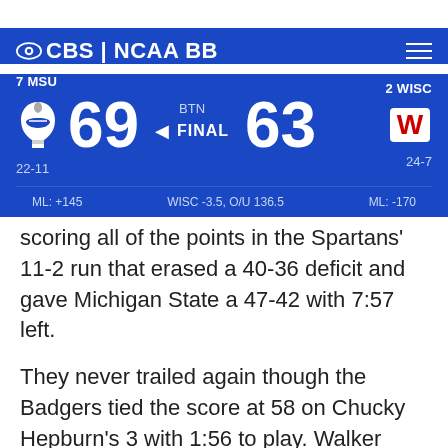CBS | NCAA BB
[Figure (infographic): Scoreboard showing 7 MSU vs 2 WISC final score 69-63, BTN network, ML: +145 vs ML: -170, WISC -3.5 O/U 136.5, records 22-11 vs 24-7]
scoring all of the points in the Spartans' 11-2 run that erased a 40-36 deficit and gave Michigan State a 47-42 with 7:57 left.
They never trailed again though the Badgers tied the score at 58 on Chucky Hepburn's 3 with 1:56 to play. Walker answered with a short jumper to break the tie and a 15-footer to make it 62-58 with 58.4 seconds left.